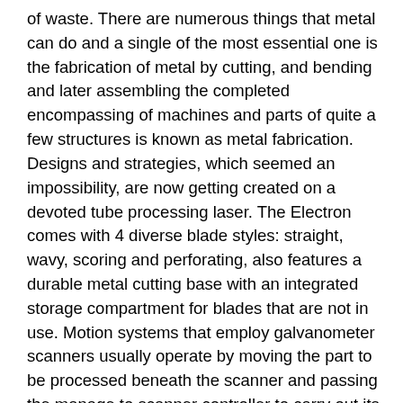of waste. There are numerous things that metal can do and a single of the most essential one is the fabrication of metal by cutting, and bending and later assembling the completed encompassing of machines and parts of quite a few structures is known as metal fabrication. Designs and strategies, which seemed an impossibility, are now getting created on a devoted tube processing laser. The Electron comes with 4 diverse blade styles: straight, wavy, scoring and perforating, also features a durable metal cutting base with an integrated storage compartment for blades that are not in use. Motion systems that employ galvanometer scanners usually operate by moving the part to be processed beneath the scanner and passing the manage to scanner controller to carry out its personal person operation. You never usually have the time to invest cutting stacks of paper by hand, and you may possibly not trust your hands to cut a straight line. The report then estimates 2016-2021 business growth of Laser Tube Cutting Machines industry. The machine is highly efficient and the cutting